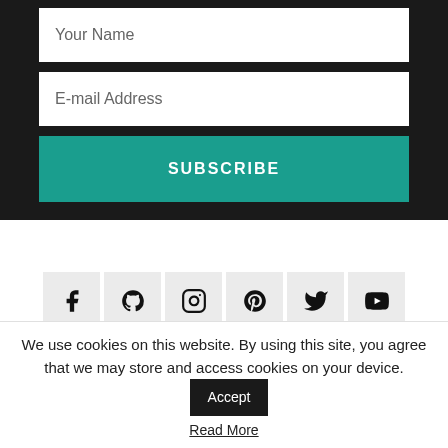Your Name
E-mail Address
SUBSCRIBE
[Figure (other): Social media icon buttons: Facebook, GitHub, Instagram, Pinterest, Twitter, YouTube]
We use cookies on this website. By using this site, you agree that we may store and access cookies on your device.
Accept
Read More